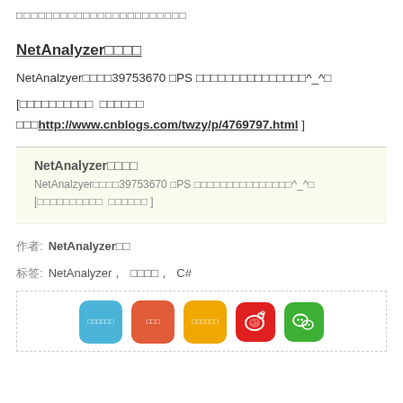□□□□□□□□□□□□□□□□□□□□□□□
NetAnalyzer□□□□
NetAnalzyer□□□□39753670 □PS □□□□□□□□□□□□□□□^_^□
[□□□□□□□□□□ □□□□□□ □□□http://www.cnblogs.com/twzy/p/4769797.html ]
NetAnalyzer□□□□
NetAnalzyer□□□□39753670 □PS □□□□□□□□□□□□□□□^_^□
[□□□□□□□□□□ □□□□□□ ]
作者: NetAnalyzer□□
标签: NetAnalyzer, □□□□, C#